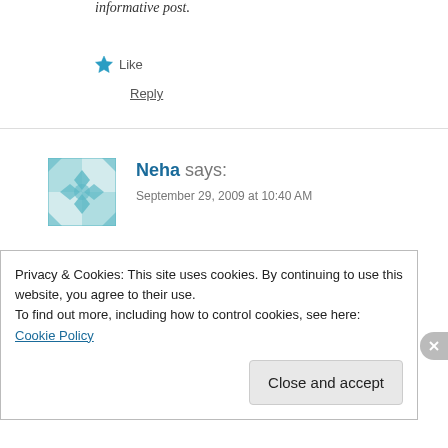informative post.
Like
Reply
Neha says:
September 29, 2009 at 10:40 AM
amazing clicks…very informative post…
chk my blog…surprise awaits you there..
Like
Privacy & Cookies: This site uses cookies. By continuing to use this website, you agree to their use.
To find out more, including how to control cookies, see here: Cookie Policy
Close and accept